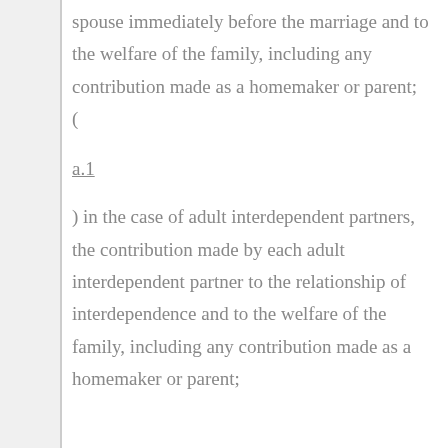spouse immediately before the marriage and to the welfare of the family, including any contribution made as a homemaker or parent; (
a.1
) in the case of adult interdependent partners, the contribution made by each adult interdependent partner to the relationship of interdependence and to the welfare of the family, including any contribution made as a homemaker or parent;